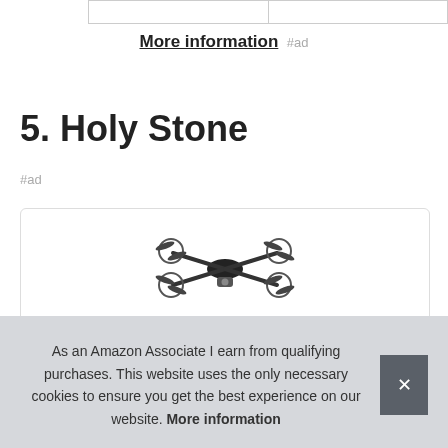|  |  |
More information #ad
5. Holy Stone
#ad
[Figure (photo): Holy Stone drone product image shown inside a bordered card]
As an Amazon Associate I earn from qualifying purchases. This website uses the only necessary cookies to ensure you get the best experience on our website. More information